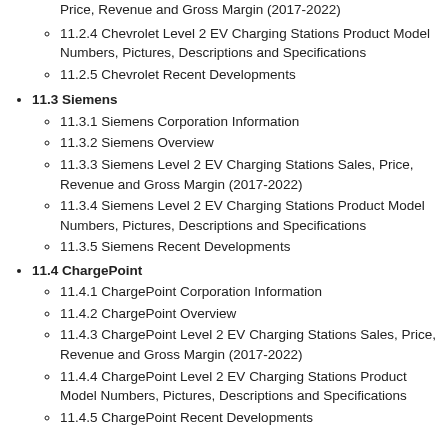Price, Revenue and Gross Margin (2017-2022)
11.2.4 Chevrolet Level 2 EV Charging Stations Product Model Numbers, Pictures, Descriptions and Specifications
11.2.5 Chevrolet Recent Developments
11.3 Siemens
11.3.1 Siemens Corporation Information
11.3.2 Siemens Overview
11.3.3 Siemens Level 2 EV Charging Stations Sales, Price, Revenue and Gross Margin (2017-2022)
11.3.4 Siemens Level 2 EV Charging Stations Product Model Numbers, Pictures, Descriptions and Specifications
11.3.5 Siemens Recent Developments
11.4 ChargePoint
11.4.1 ChargePoint Corporation Information
11.4.2 ChargePoint Overview
11.4.3 ChargePoint Level 2 EV Charging Stations Sales, Price, Revenue and Gross Margin (2017-2022)
11.4.4 ChargePoint Level 2 EV Charging Stations Product Model Numbers, Pictures, Descriptions and Specifications
11.4.5 ChargePoint Recent Developments